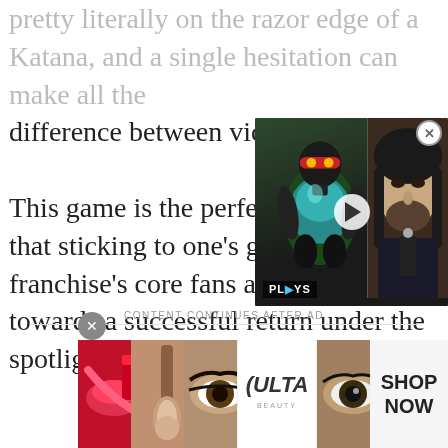pretty literally on the razor edge of a Katana, and a single hesitation can make all the difference between victory and defeat. This game is the perfect... that sticking to one's gu... franchise's core fans are strong assets towards a successful return under the spotlight.
[Figure (screenshot): Video player overlay showing a video game character (robotic female with teal outfit and red headband) and a man with long dark hair (Keanu Reeves-like), with a play button and PLAYS label]
CONTENT CONTINUES AFTER AD
[Figure (photo): ULTA Beauty advertisement banner showing closeup images of makeup: red lips with brush, eye with eyeliner, ULTA logo, eye closeup, and SHOP NOW button]